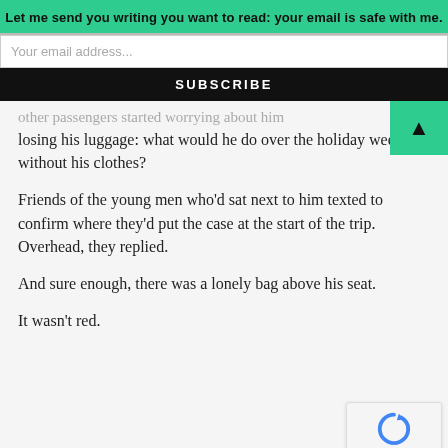Let me send you writing you want to read: your email is safe with me.
Your email address...
SUBSCRIBE
other passengers started worrying about him losing his luggage: what would he do over the holiday weekend without his clothes?
Friends of the young men who'd sat next to him texted to confirm where they'd put the case at the start of the trip. Overhead, they replied.
And sure enough, there was a lonely bag above his seat.
It wasn't red.
[Figure (logo): reCAPTCHA badge with spinning arrows icon and Privacy · Terms text]